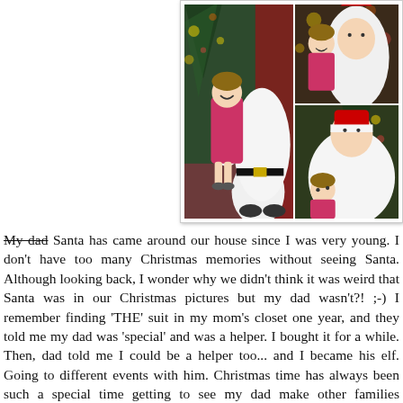[Figure (photo): Photo collage of a young girl in pink pajamas with Santa Claus. Three photos arranged in a collage: one large photo on the left showing the girl standing next to Santa in front of a Christmas tree, and two smaller photos on the right — top showing girl and Santa smiling together, bottom showing the girl hugging Santa's beard.]
My dad Santa has came around our house since I was very young. I don't have too many Christmas memories without seeing Santa. Although looking back, I wonder why we didn't think it was weird that Santa was in our Christmas pictures but my dad wasn't?! ;-) I remember finding 'THE' suit in my mom's closet one year, and they told me my dad was 'special' and was a helper. I bought it for a while. Then, dad told me I could be a helper too... and I became his elf. Going to different events with him. Christmas time has always been such a special time getting to see my dad make other families Christmas' so special! We used to go from house to